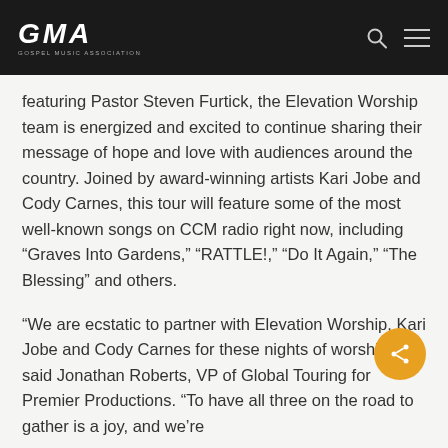GMA GOSPEL MUSIC ASSOCIATION
featuring Pastor Steven Furtick, the Elevation Worship team is energized and excited to continue sharing their message of hope and love with audiences around the country. Joined by award-winning artists Kari Jobe and Cody Carnes, this tour will feature some of the most well-known songs on CCM radio right now, including “Graves Into Gardens,” “RATTLE!,” “Do It Again,” “The Blessing” and others.
“We are ecstatic to partner with Elevation Worship, Kari Jobe and Cody Carnes for these nights of worship,” said Jonathan Roberts, VP of Global Touring for Premier Productions. “To have all three on the road to gather is a joy, and we’re